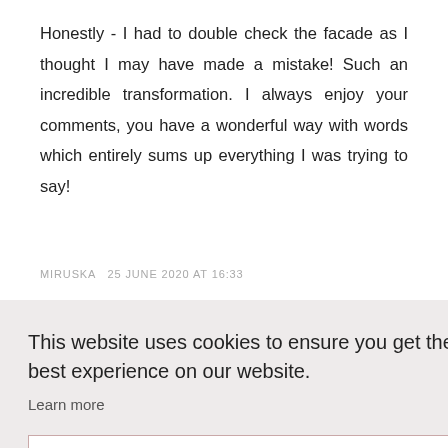Honestly - I had to double check the facade as I thought I may have made a mistake! Such an incredible transformation. I always enjoy your comments, you have a wonderful way with words which entirely sums up everything I was trying to say!
MIRUSKA  25 June 2020 at 16:33
This website uses cookies to ensure you get the best experience on our website.
Learn more
Got it!
g, but
that I
skill in
nutiful
y day
with your blog and it sets me right.